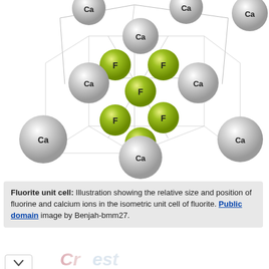[Figure (illustration): 3D crystal structure diagram of fluorite unit cell showing calcium (Ca) ions as large gray spheres and fluorine (F) ions as smaller yellow-green spheres arranged in an isometric unit cell with connecting lines.]
Fluorite unit cell: Illustration showing the relative size and position of fluorine and calcium ions in the isometric unit cell of fluorite. Public domain image by Benjah-bmm27.
[Figure (logo): Crest Anti-Cavity Fluoride Rinse logo with large stylized 'Crest' text in red/pink and light blue colors.]